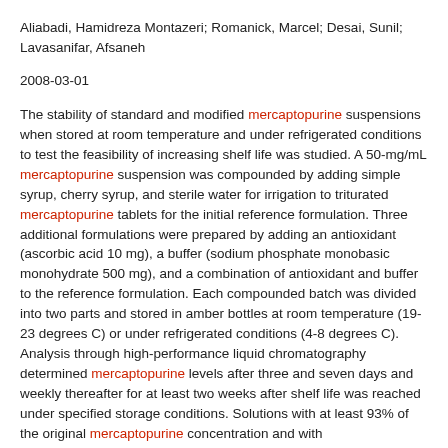Aliabadi, Hamidreza Montazeri; Romanick, Marcel; Desai, Sunil; Lavasanifar, Afsaneh
2008-03-01
The stability of standard and modified mercaptopurine suspensions when stored at room temperature and under refrigerated conditions to test the feasibility of increasing shelf life was studied. A 50-mg/mL mercaptopurine suspension was compounded by adding simple syrup, cherry syrup, and sterile water for irrigation to triturated mercaptopurine tablets for the initial reference formulation. Three additional formulations were prepared by adding an antioxidant (ascorbic acid 10 mg), a buffer (sodium phosphate monobasic monohydrate 500 mg), and a combination of antioxidant and buffer to the reference formulation. Each compounded batch was divided into two parts and stored in amber bottles at room temperature (19-23 degrees C) or under refrigerated conditions (4-8 degrees C). Analysis through high-performance liquid chromatography determined mercaptopurine levels after three and seven days and weekly thereafter for at least two weeks after shelf life was reached under specified storage conditions. Solutions with at least 93% of the original mercaptopurine concentration and with